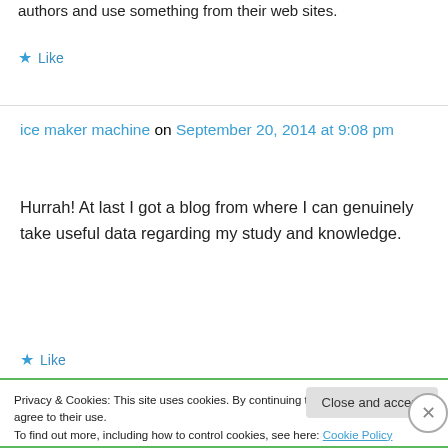authors and use something from their web sites.
★ Like
ice maker machine on September 20, 2014 at 9:08 pm
Hurrah! At last I got a blog from where I can genuinely take useful data regarding my study and knowledge.
★ Like
Privacy & Cookies: This site uses cookies. By continuing to use this website, you agree to their use.
To find out more, including how to control cookies, see here: Cookie Policy